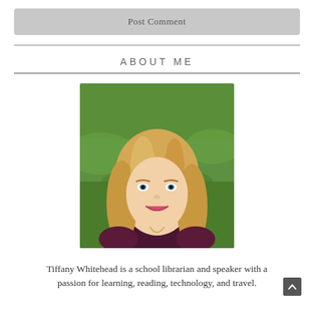Post Comment
ABOUT ME
[Figure (photo): Headshot of Tiffany Whitehead, a smiling blonde woman with blue eyes wearing a dark maroon sleeveless top with a necklace, photographed outdoors against a green grassy background.]
Tiffany Whitehead is a school librarian and speaker with a passion for learning, reading, technology, and travel.